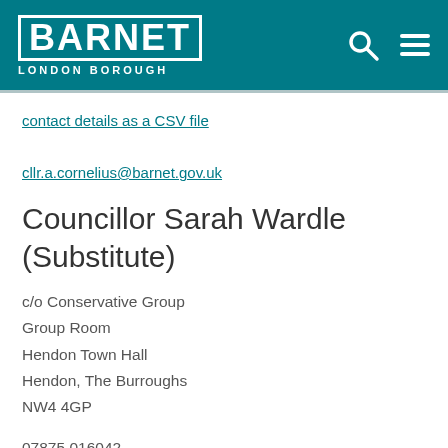BARNET LONDON BOROUGH
contact details as a CSV file
cllr.a.cornelius@barnet.gov.uk
Councillor Sarah Wardle (Substitute)
c/o Conservative Group
Group Room
Hendon Town Hall
Hendon, The Burroughs
NW4 4GP
07875 016042